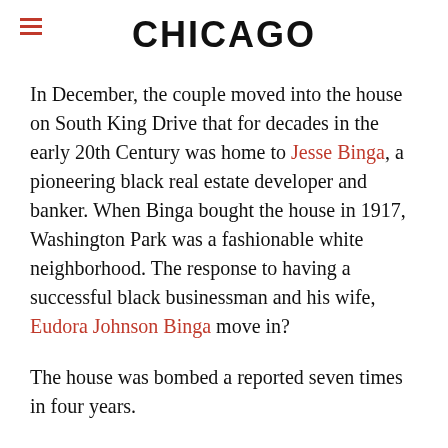CHICAGO
In December, the couple moved into the house on South King Drive that for decades in the early 20th Century was home to Jesse Binga, a pioneering black real estate developer and banker. When Binga bought the house in 1917, Washington Park was a fashionable white neighborhood. The response to having a successful black businessman and his wife, Eudora Johnson Binga move in?
The house was bombed a reported seven times in four years.
In recent years, the former Binga house had been